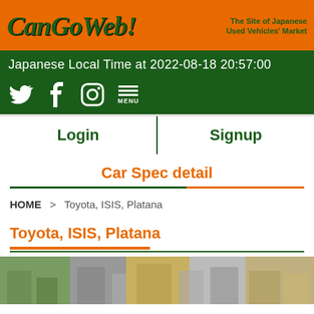[Figure (logo): CanGoWeb! logo on orange banner with tagline 'The Site of Japanese Used Vehicles' Market']
Japanese Local Time at 2022-08-18 20:57:00
[Figure (infographic): Social media icons: Twitter, Facebook, Instagram, Menu]
Login
Signup
Car Spec detail
HOME > Toyota, ISIS, Platana
Toyota, ISIS, Platana
[Figure (photo): Street scene photo strip showing Japanese town/city view]